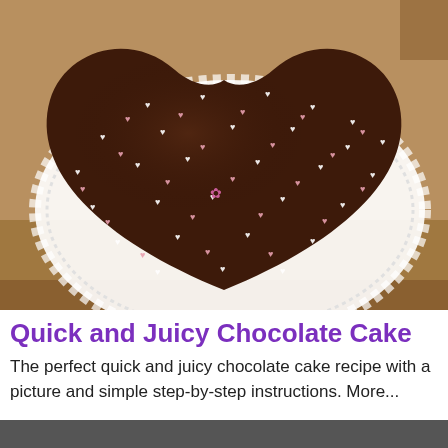[Figure (photo): A heart-shaped chocolate cake covered in glossy dark chocolate ganache and decorated with many small pink and white heart-shaped sprinkles, placed on a white lace doily on a wooden table.]
Quick and Juicy Chocolate Cake
The perfect quick and juicy chocolate cake recipe with a picture and simple step-by-step instructions. More...